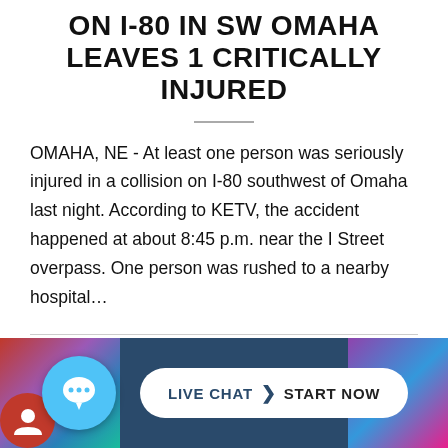ON I-80 IN SW OMAHA LEAVES 1 CRITICALLY INJURED
OMAHA, NE - At least one person was seriously injured in a collision on I-80 southwest of Omaha last night. According to KETV, the accident happened at about 8:45 p.m. near the I Street overpass. One person was rushed to a nearby hospital…
June 1, 2022
[Figure (screenshot): Live chat banner with chat bubble icon on dark blue background, white pill-shaped button reading LIVE CHAT | START NOW]